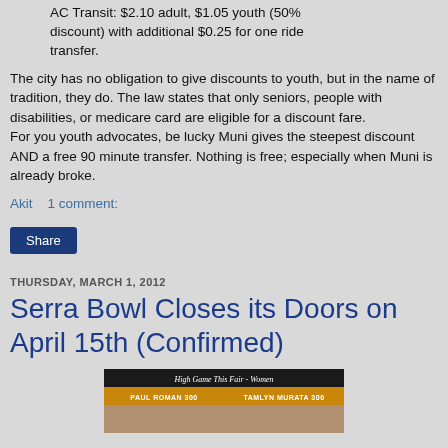AC Transit: $2.10 adult, $1.05 youth (50% discount) with additional $0.25 for one ride transfer.
The city has no obligation to give discounts to youth, but in the name of tradition, they do. The law states that only seniors, people with disabilities, or medicare card are eligible for a discount fare.
For you youth advocates, be lucky Muni gives the steepest discount AND a free 90 minute transfer. Nothing is free; especially when Muni is already broke.
Akit    1 comment:
Share
THURSDAY, MARCH 1, 2012
Serra Bowl Closes its Doors on April 15th (Confirmed)
[Figure (photo): Photo of a bowling alley scoreboard showing 'High Game This Fair Women' with names PAUL ROMAN 300 and TAMLYN MURATA 300]